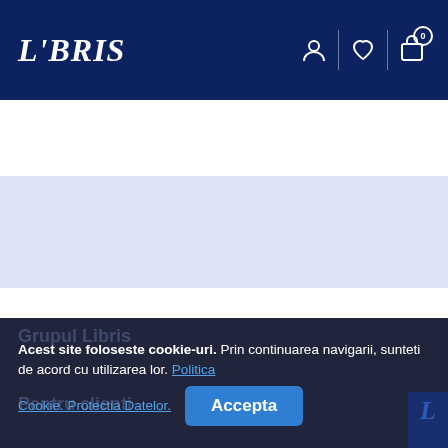[Figure (logo): LIBRIS logo in white italic serif font on dark navy header bar, with user, heart, and cart icons on the right]
Cauta printre rafturile noastre
[Figure (logo): LIBRIS logo in white bold serif font with vertical divider and tagline 'We know books' on dark navy background]
Acest site foloseste cookie-uri. Prin continuarea navigarii, sunteti de acord cu utilizarea lor. Politica Cookie. Protectia Datelor.
Accepta